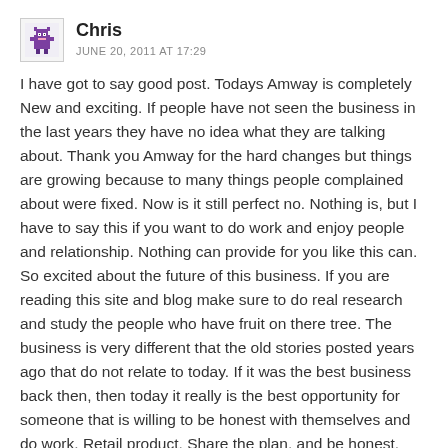[Figure (illustration): Small pixel-art avatar icon showing a purple monster/alien character]
Chris
JUNE 20, 2011 AT 17:29
I have got to say good post. Todays Amway is completely New and exciting. If people have not seen the business in the last years they have no idea what they are talking about. Thank you Amway for the hard changes but things are growing because to many things people complained about were fixed. Now is it still perfect no. Nothing is, but I have to say this if you want to do work and enjoy people and relationship. Nothing can provide for you like this can. So excited about the future of this business. If you are reading this site and blog make sure to do real research and study the people who have fruit on there tree. The business is very different that the old stories posted years ago that do not relate to today. If it was the best business back then, then today it really is the best opportunity for someone that is willing to be honest with themselves and do work. Retail product, Share the plan, and be honest. Love Amway and the opportunity it has give to my family